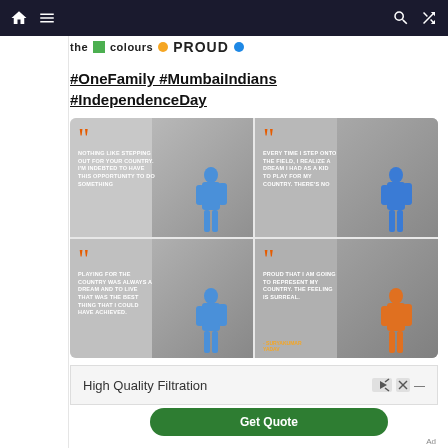Navigation bar with home, menu, search, and shuffle icons
the colours PROUD
#OneFamily #MumbaiIndians #IndependenceDay
[Figure (photo): A 2x2 grid of cricket player quote cards with orange quotation marks. Top-left: 'NOTHING LIKE STEPPING OUT FOR YOUR COUNTRY. I'M INDEBTED TO HAVE THIS OPPORTUNITY TO DO SOMETHING'. Top-right: 'EVERY TIME I STEP ONTO THE FIELD, I REALIZE A DREAM I HAD AS A KID TO PLAY FOR MY COUNTRY. THERE'S NO'. Bottom-left: 'PLAYING FOR THE COUNTRY WAS ALWAYS A DREAM AND TO LIVE THAT WAS THE BEST THING THAT I COULD HAVE ACHIEVED.' Bottom-right: 'PROUD THAT I AM GOING TO REPRESENT MY COUNTRY. THE FEELING IS SURREAL. - SURYAKUMAR YADAV'. Each card shows a cricketer in blue Indian team jersey.]
High Quality Filtration
Get Quote
Ad